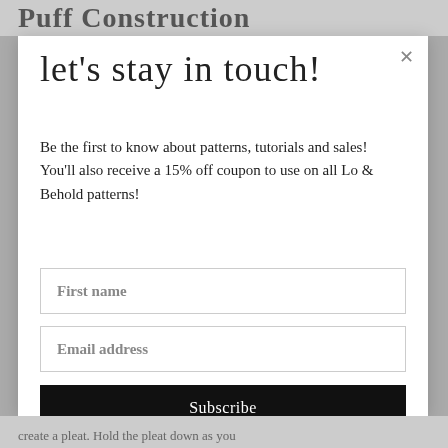Puff Construction
let's stay in touch!
Be the first to know about patterns, tutorials and sales! You'll also receive a 15% off coupon to use on all Lo & Behold patterns!
First name
Email address
Subscribe
create a pleat. Hold the pleat down as you